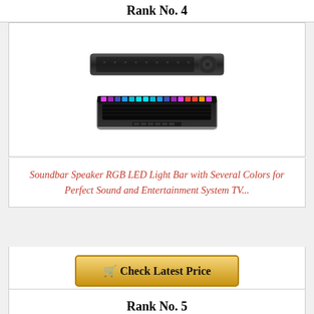Rank No. 4
[Figure (photo): Two soundbar speakers: a slim black soundbar on top and a black soundbar with RGB LED light bar below]
Soundbar Speaker RGB LED Light Bar with Several Colors for Perfect Sound and Entertainment System TV...
🛒 Check Latest Price
Rank No. 5